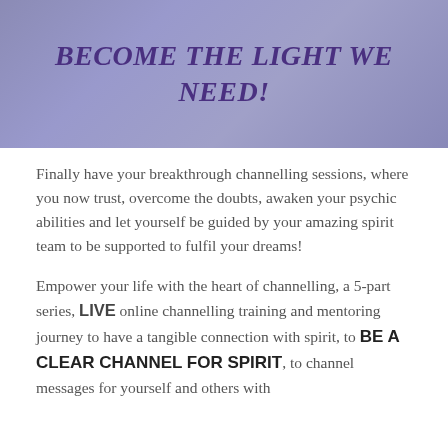[Figure (other): Purple/lavender gradient banner with bold italic purple text reading 'BECOME THE LIGHT WE NEED!']
Finally have your breakthrough channelling sessions, where you now trust, overcome the doubts, awaken your psychic abilities and let yourself be guided by your amazing spirit team to be supported to fulfil your dreams!
Empower your life with the heart of channelling, a 5-part series, LIVE online channelling training and mentoring journey to have a tangible connection with spirit, to BE A CLEAR CHANNEL FOR SPIRIT, to channel messages for yourself and others with